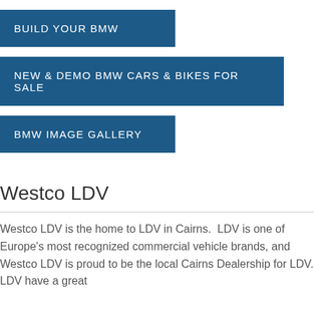BUILD YOUR BMW
NEW & DEMO BMW CARS & BIKES FOR SALE
BMW IMAGE GALLERY
Westco LDV
Westco LDV is the home to LDV in Cairns.  LDV is one of Europe's most recognized commercial vehicle brands, and Westco LDV is proud to be the local Cairns Dealership for LDV. LDV have a great